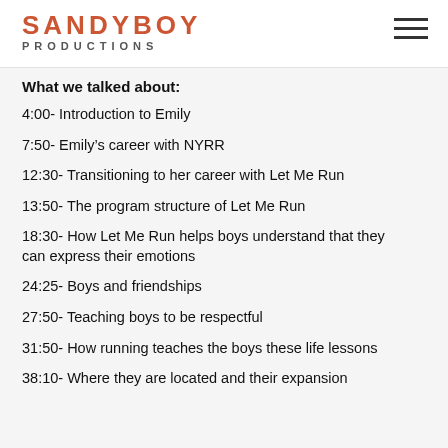SANDYBOY PRODUCTIONS
What we talked about:
4:00- Introduction to Emily
7:50- Emily's career with NYRR
12:30- Transitioning to her career with Let Me Run
13:50- The program structure of Let Me Run
18:30- How Let Me Run helps boys understand that they can express their emotions
24:25- Boys and friendships
27:50- Teaching boys to be respectful
31:50- How running teaches the boys these life lessons
38:10- Where they are located and their expansion